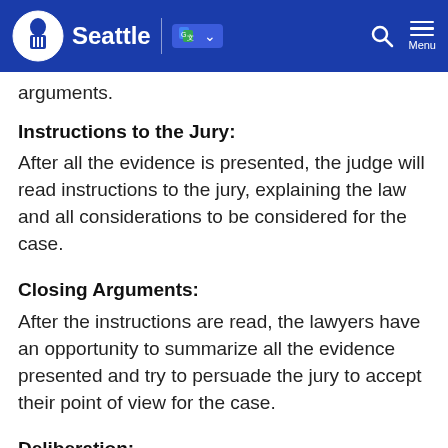Seattle
arguments.
Instructions to the Jury:
After all the evidence is presented, the judge will read instructions to the jury, explaining the law and all considerations to be considered for the case.
Closing Arguments:
After the instructions are read, the lawyers have an opportunity to summarize all the evidence presented and try to persuade the jury to accept their point of view for the case.
Deliberation:
After closing arguments, the jury is isolated to decide the